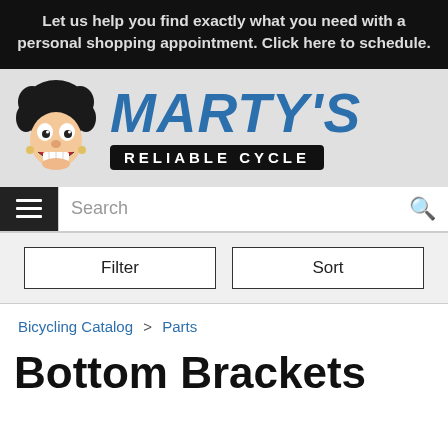Let us help you find exactly what you need with a personal shopping appointment. Click here to schedule.
[Figure (logo): Marty's Reliable Cycle logo with cartoon mascot character with afro hair and wide grin, next to bold blue italic MARTY'S text above black rounded rectangle with white RELIABLE CYCLE text]
Search
Filter
Sort
Bicycling Catalog > Parts
Bottom Brackets